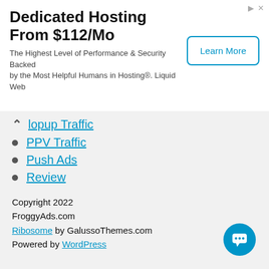[Figure (other): Advertisement banner for Dedicated Hosting with Learn More button]
Popup Traffic
PPV Traffic
Push Ads
Review
SEM
SEO
Social Media Marketing
Video Marketing
VPN
Web Security
Website Traffic
Copyright 2022 FroggyAds.com Ribosome by GalussoThemes.com Powered by WordPress